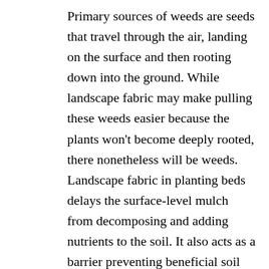Primary sources of weeds are seeds that travel through the air, landing on the surface and then rooting down into the ground. While landscape fabric may make pulling these weeds easier because the plants won't become deeply rooted, there nonetheless will be weeds. Landscape fabric in planting beds delays the surface-level mulch from decomposing and adding nutrients to the soil. It also acts as a barrier preventing beneficial soil critters (insects, worms, microbes, etc.) from moving nutrients through the soil and keeping soil structure loose and healthy for root growth. Finally, with just a few inches of mulch on top of the fabric, it becomes exposed over time and looks terrible.